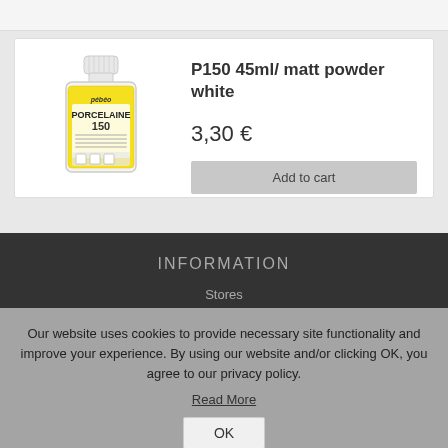[Figure (photo): Pebeo Porcelaine 150 paint bottle, 45ml, matt powder white, with yellow label]
P150 45ml/ matt powder white
3,30 €
Add to cart
INFORMATION
Stores
Our website uses cookies to provide necessary site functionality and improve your experience. By using our website and/or clicking OK, you agree to our privacy policy.
Read More
OK
EXTRA